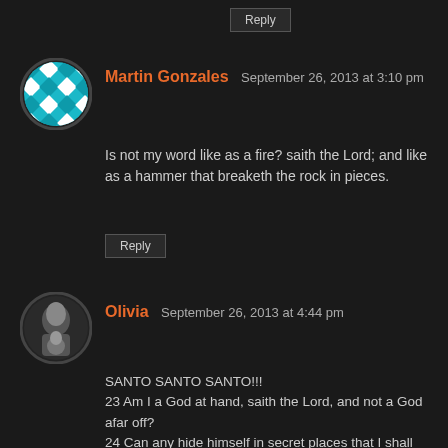Reply
Martin Gonzales  September 26, 2013 at 3:10 pm
[Figure (photo): Avatar for Martin Gonzales — teal and white geometric pattern in a circle]
Is not my word like as a fire? saith the Lord; and like as a hammer that breaketh the rock in pieces.
Reply
[Figure (photo): Avatar for Olivia — photo of woman with child in a circle]
Olivia  September 26, 2013 at 4:44 pm
SANTO SANTO SANTO!!!
23 Am I a God at hand, saith the Lord, and not a God afar off?
24 Can any hide himself in secret places that I shall not see him? saith the Lord. Do not I fill heaven and earth? saith the Lord
HALELUJAH!!! GOD SEES EVERYTHING!!! PEOPLE